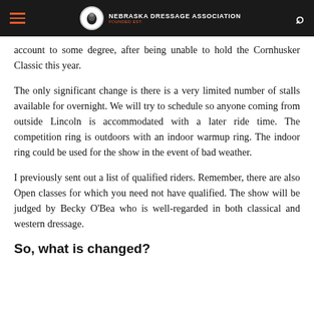Nebraska Dressage Association
account to some degree, after being unable to hold the Cornhusker Classic this year.
The only significant change is there is a very limited number of stalls available for overnight. We will try to schedule so anyone coming from outside Lincoln is accommodated with a later ride time. The competition ring is outdoors with an indoor warmup ring. The indoor ring could be used for the show in the event of bad weather.
I previously sent out a list of qualified riders. Remember, there are also Open classes for which you need not have qualified. The show will be judged by Becky O'Bea who is well-regarded in both classical and western dressage.
So, what is changed?